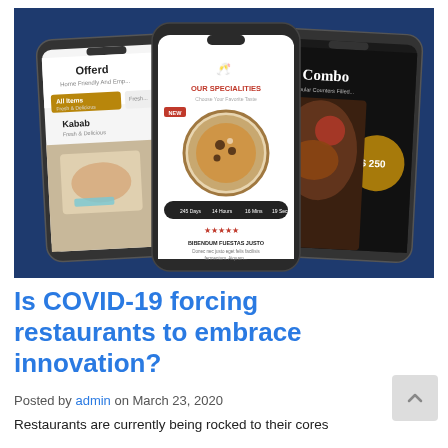[Figure (screenshot): Screenshot showing three smartphone mockups displaying a restaurant app UI on a dark blue background. The center phone shows 'OUR SPECIALITIES / Choose Your Favorite Taste' with a pizza image and countdown timer. Left phone shows 'Offerd / All Items / Kabab' categories. Right phone shows 'Combo / $250' with food photo.]
Is COVID-19 forcing restaurants to embrace innovation?
Posted by admin on March 23, 2020
Restaurants are currently being rocked to their cores